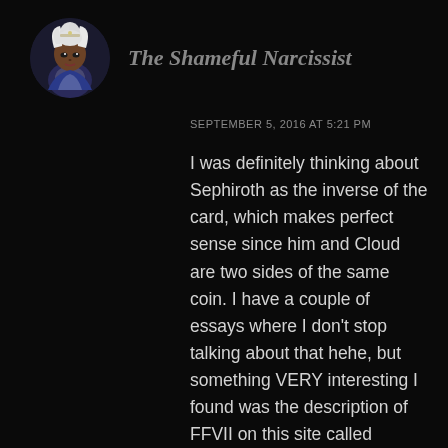[Figure (illustration): Circular avatar image of an illustrated character with white hair, dark skin, wearing a blue and white outfit, on a dark background]
The Shameful Narcissist
SEPTEMBER 5, 2016 AT 5:21 PM
I was definitely thinking about Sephiroth as the inverse of the card, which makes perfect sense since him and Cloud are two sides of the same coin. I have a couple of essays where I don't stop talking about that hehe, but something VERY interesting I found was the description of FFVII on this site called Grouvee that's pretty much Goodreads for gamers.